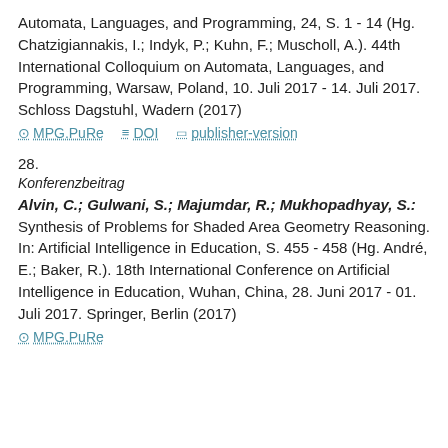Automata, Languages, and Programming, 24, S. 1 - 14 (Hg. Chatzigiannakis, I.; Indyk, P.; Kuhn, F.; Muscholl, A.). 44th International Colloquium on Automata, Languages, and Programming, Warsaw, Poland, 10. Juli 2017 - 14. Juli 2017. Schloss Dagstuhl, Wadern (2017)
MPG.PuRe   DOI   publisher-version
28.
Konferenzbeitrag
Alvin, C.; Gulwani, S.; Majumdar, R.; Mukhopadhyay, S.: Synthesis of Problems for Shaded Area Geometry Reasoning. In: Artificial Intelligence in Education, S. 455 - 458 (Hg. André, E.; Baker, R.). 18th International Conference on Artificial Intelligence in Education, Wuhan, China, 28. Juni 2017 - 01. Juli 2017. Springer, Berlin (2017)
MPG.PuRe